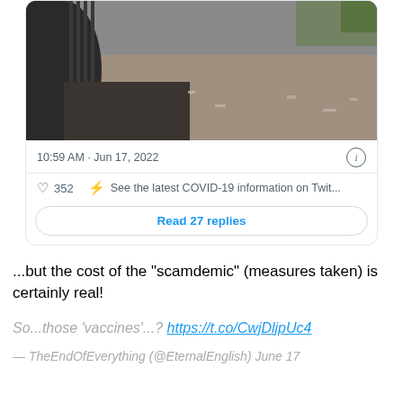[Figure (photo): Screenshot of a Twitter/social media post showing an image of a corrugated pipe and muddy ground. Below the image is a timestamp '10:59 AM · Jun 17, 2022' with an info icon, a heart icon with '352' likes, a lightning bolt icon with text 'See the latest COVID-19 information on Twit...', and a 'Read 27 replies' button.]
...but the cost of the “scamdemic” (measures taken) is certainly real!
So...those ‘vaccines’...? https://t.co/CwjDljpUc4
— TheEndOfEverything (@EternalEnglish) June 17